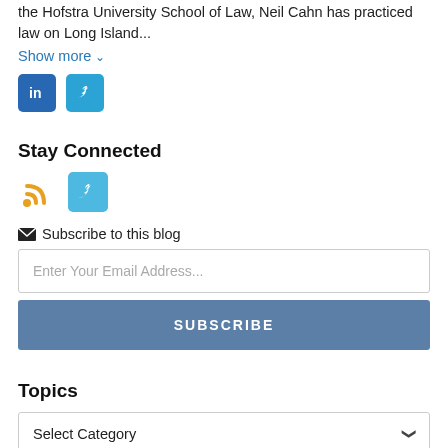the Hofstra University School of Law, Neil Cahn has practiced law on Long Island...
Show more
[Figure (logo): LinkedIn and Twitter social media icons (dark blue)]
Stay Connected
[Figure (logo): RSS feed icon (orange) and Twitter icon (light blue)]
Subscribe to this blog
Enter Your Email Address...
SUBSCRIBE
Topics
Select Category